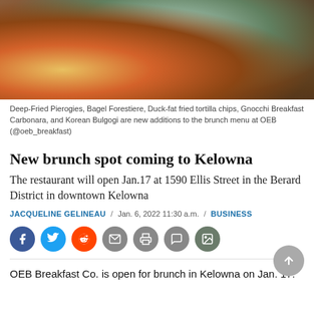[Figure (photo): Overhead shot of brunch dishes including fried pierogies, bagel forestiere, duck-fat fried tortilla chips, gnocchi breakfast carbonara, and Korean bulgogi on plates and bowls on a wooden table.]
Deep-Fried Pierogies, Bagel Forestiere, Duck-fat fried tortilla chips, Gnocchi Breakfast Carbonara, and Korean Bulgogi are new additions to the brunch menu at OEB (@oeb_breakfast)
New brunch spot coming to Kelowna
The restaurant will open Jan.17 at 1590 Ellis Street in the Berard District in downtown Kelowna
JACQUELINE GELINEAU / Jan. 6, 2022 11:30 a.m. / BUSINESS
[Figure (infographic): Social sharing icons: Facebook (blue), Twitter (blue), Reddit (orange), Email (grey), Print (grey), Comment (grey), Gallery (dark grey)]
OEB Breakfast Co. is open for brunch in Kelowna on Jan. 17.